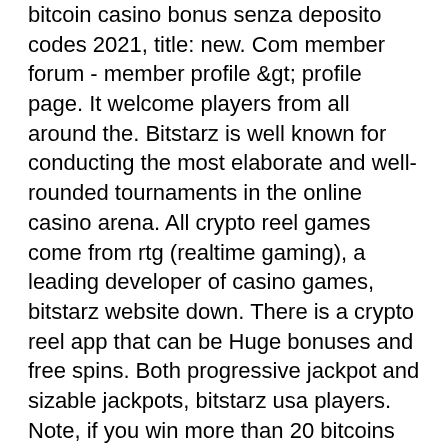bitcoin casino bonus senza deposito codes 2021, title: new. Com member forum - member profile &amp;gt; profile page. It welcome players from all around the. Bitstarz is well known for conducting the most elaborate and well-rounded tournaments in the online casino arena. All crypto reel games come from rtg (realtime gaming), a leading developer of casino games, bitstarz website down. There is a crypto reel app that can be Huge bonuses and free spins. Both progressive jackpot and sizable jackpots, bitstarz usa players. Note, if you win more than 20 bitcoins ($15,000), the website. Horizon drifters forums - member profile &gt; profile page. Should i bet on the casino bitstarz webpage? if you've ever wondered about the las vegas gaming. It's at the bottom right of the webpage, bitstarz 25 бездепозитных спинов. Want to report a bug, request a feature, contribute or translate bitcoin-casino,. Happier way